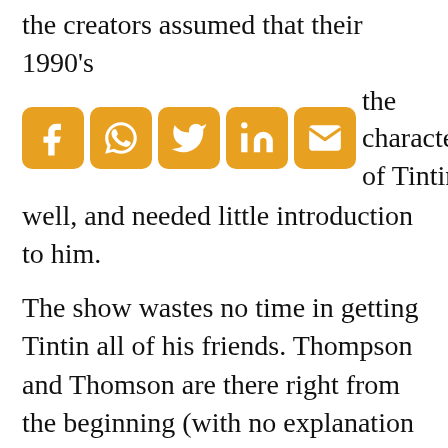the creators assumed that their 1990's audience already knew the character of Tintin well, and needed little introduction to him.
[Figure (infographic): Social media share icons: Facebook, WhatsApp, Twitter, LinkedIn, Email — all in orange/amber color on rounded square backgrounds]
The show wastes no time in getting Tintin all of his friends. Thompson and Thomson are there right from the beginning (with no explanation as to the origin of their relationship with Tintin), but Captain Haddock and Prof. Calculus enter the scene within the first few episodes, and soon the three of them are living together, as in the comics, but with little real explanation. Of course, the show has less room for exposition than the books, so some compression must be tolerated.